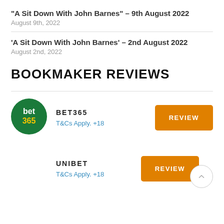“A Sit Down With John Barnes” – 9th August 2022
August 9th, 2022
‘A Sit Down With John Barnes’ – 2nd August 2022
August 2nd, 2022
BOOKMAKER REVIEWS
[Figure (logo): bet365 green circular logo with white 'bet' text and yellow '365' text]
BET365
T&Cs Apply. +18
REVIEW
UNIBET
T&Cs Apply. +18
REVIEW